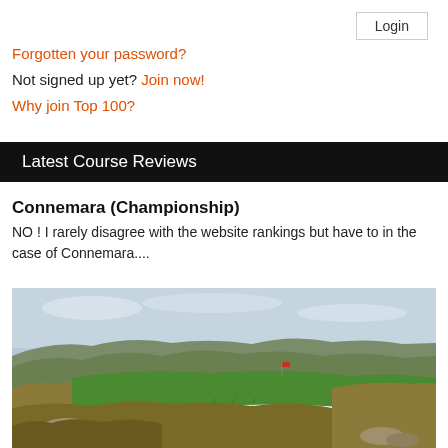Login
Forgotten your password?
Not signed up yet? Join now!
Why join Top 100?
Latest Course Reviews
Connemara (Championship)
NO ! I rarely disagree with the website rankings but have to in the case of Connemara....
[Figure (photo): A links-style golf course with green fairway and rough terrain, rocky outcrops visible in the foreground and hillocks in the background under an overcast sky — Connemara Championship golf course.]